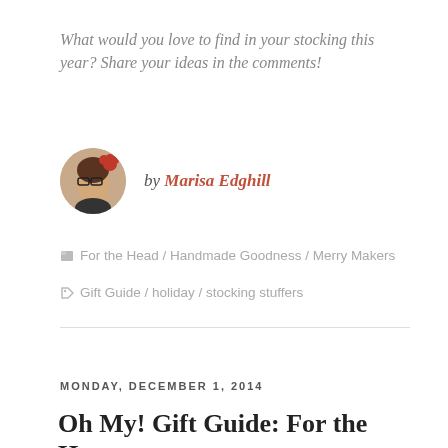What would you love to find in your stocking this year? Share your ideas in the comments!
by Marisa Edghill
For the Head / Handmade Goodness / Merry Makers
Gift Guide / holiday / stocking stuffers
MONDAY, DECEMBER 1, 2014
Oh My! Gift Guide: For the Home